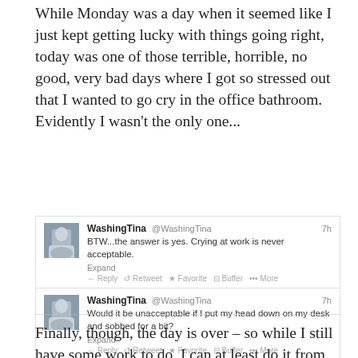While Monday was a day when it seemed like I just kept getting lucky with things going right, today was one of those terrible, horrible, no good, very bad days where I got so stressed out that I wanted to go cry in the office bathroom. Evidently I wasn't the only one...
[Figure (screenshot): Two tweets from WashingTina (@WashingTina). First tweet (7h): 'BTW...the answer is yes. Crying at work is never acceptable.' with Expand, Reply, Retweet, Favorite, Buffer, More actions. Second tweet (7h): 'Would it be unacceptable if I put my head down on my desk and sobbed for a bit?' with Expand, Reply, Retweet, Favorite, Buffer, More actions.]
Finally, though, the day is over – so while I still have some work to do, I can at least do it from the comfort of my hotel room. (Which means it's now my party and I can cry if I want to, though I've finally